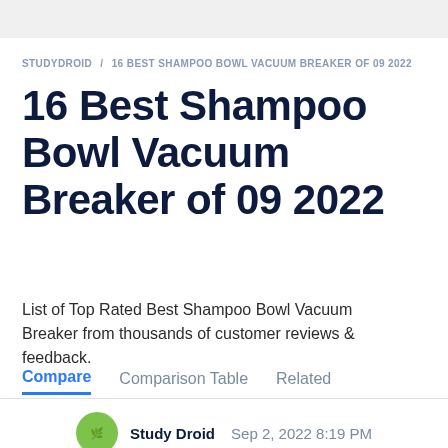STUDYDROID / 16 BEST SHAMPOO BOWL VACUUM BREAKER OF 09 2022
16 Best Shampoo Bowl Vacuum Breaker of 09 2022
List of Top Rated Best Shampoo Bowl Vacuum Breaker from thousands of customer reviews & feedback.
Compare   Comparison Table   Related
Study Droid  Sep 2, 2022 8:19 PM